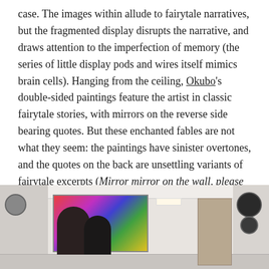case. The images within allude to fairytale narratives, but the fragmented display disrupts the narrative, and draws attention to the imperfection of memory (the series of little display pods and wires itself mimics brain cells). Hanging from the ceiling, Okubo's double-sided paintings feature the artist in classic fairytale stories, with mirrors on the reverse side bearing quotes. But these enchanted fables are not what they seem: the paintings have sinister overtones, and the quotes on the back are unsettling variants of fairytale excerpts (Mirror mirror on the wall, please tell me who I am...). As I discussed with Lulu, both artists feel—and I wholeheartedly agree—that fairytale narratives disenfranchise and delude girls, compromising our identities well into womanhood.
[Figure (photo): Interior photo of an art gallery showing colorful paintings on the wall, circular artworks, a door, ceiling light, and silhouettes of people viewing the exhibition.]